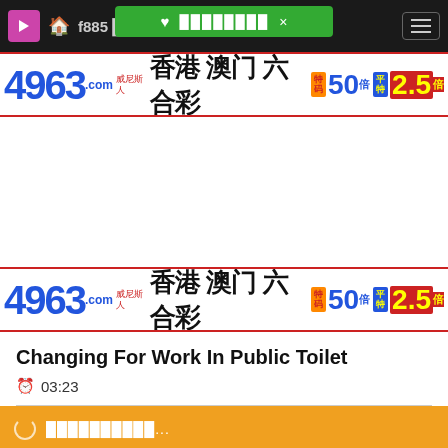f885 ████
♥ ████████ ×
[Figure (other): Advertisement banner: 4963.com 威尼斯人 香港 澳门 六合彩 特码 50倍 平特 2.5倍]
[Figure (other): Advertisement banner (repeated): 4963.com 威尼斯人 香港 澳门 六合彩 特码 50倍 平特 2.5倍]
Changing For Work In Public Toilet
🕐 03:23
██████████...